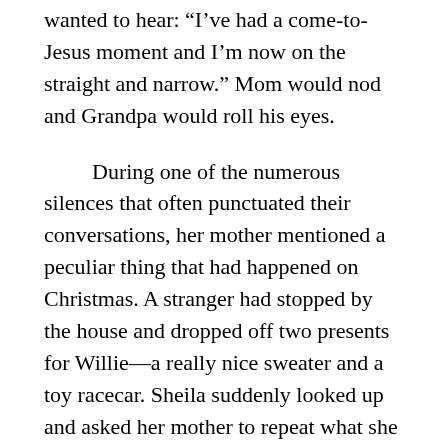wanted to hear: “I’ve had a come-to-Jesus moment and I’m now on the straight and narrow.” Mom would nod and Grandpa would roll his eyes.
During one of the numerous silences that often punctuated their conversations, her mother mentioned a peculiar thing that had happened on Christmas. A stranger had stopped by the house and dropped off two presents for Willie—a really nice sweater and a toy racecar. Sheila suddenly looked up and asked her mother to repeat what she had just said since such generosity was inconsistent with her view of the world.
Sheila is reading the page and looks...